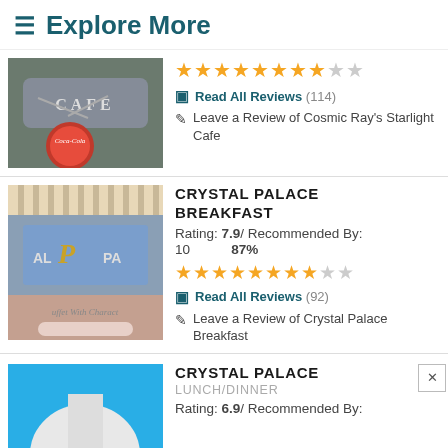≡ Explore More
[Figure (photo): Photo of Cosmic Ray's Starlight Cafe sign with Coca-Cola logo]
Read All Reviews (114)
Leave a Review of Cosmic Ray's Starlight Cafe
[Figure (photo): Photo of Crystal Palace Breakfast sign with character buffet text]
CRYSTAL PALACE BREAKFAST
Rating: 7.9 / Recommended By: 10   87%
Read All Reviews (92)
Leave a Review of Crystal Palace Breakfast
[Figure (photo): Photo of Crystal Palace Lunch/Dinner, sky blue background with white building]
CRYSTAL PALACE
LUNCH/DINNER
Rating: 6.9 / Recommended By: